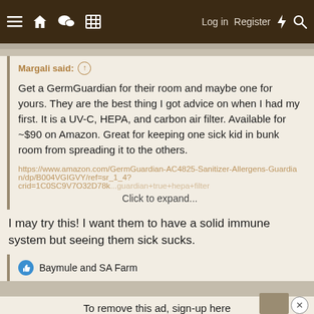≡ [home] [chat] [grid] Log in Register ⚡ 🔍
Margali said: ↑

Get a GermGuardian for their room and maybe one for yours. They are the best thing I got advice on when I had my first. It is a UV-C, HEPA, and carbon air filter. Available for ~$90 on Amazon. Great for keeping one sick kid in bunk room from spreading it to the others.

https://www.amazon.com/GermGuardian-AC4825-Sanitizer-Allergens-Guardian/dp/B004VGIGVY/ref=sr_1_4?crid=1C0SC9V7O32D78k...

Click to expand...
I may try this! I want them to have a solid immune system but seeing them sick sucks.
👍 Baymule and SA Farm
To remove this ad, sign-up here